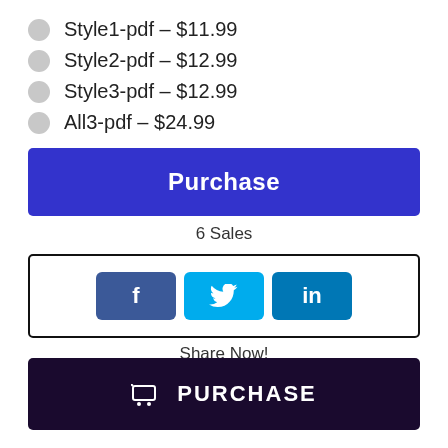Style1-pdf – $11.99
Style2-pdf – $12.99
Style3-pdf – $12.99
All3-pdf – $24.99
Purchase
6 Sales
[Figure (infographic): Social share buttons: Facebook (f), Twitter (bird), LinkedIn (in) inside a bordered box]
Share Now!
PURCHASE